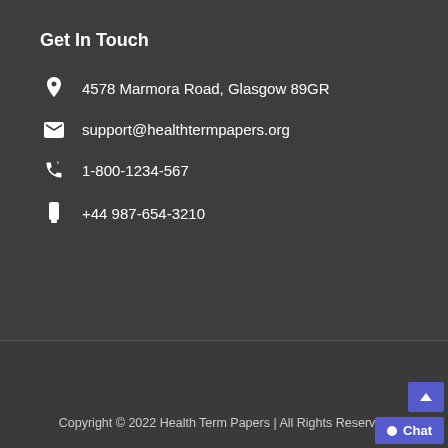Get In Touch
4578 Marmora Road, Glasgow 89GR
support@healthtermpapers.org
1-800-1234-567
+44 987-654-3210
Copyright © 2022 Health Term Papers | All Rights Reserved